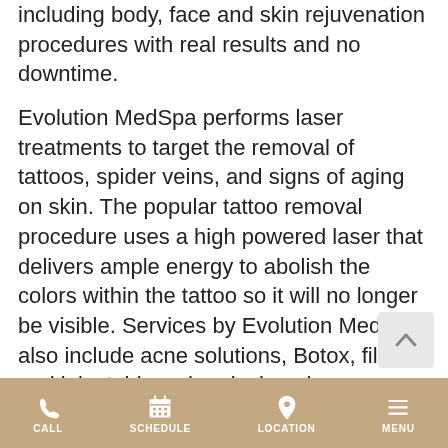including body, face and skin rejuvenation procedures with real results and no downtime.
Evolution MedSpa performs laser treatments to target the removal of tattoos, spider veins, and signs of aging on skin. The popular tattoo removal procedure uses a high powered laser that delivers ample energy to abolish the colors within the tattoo so it will no longer be visible. Services by Evolution MedSpa also include acne solutions, Botox, filler and injectables, chemical peels, rosacea treatment, IPL Photofacial, HydraFacial and more. The team at Evolution MedSpa in Riverside, NY will go out of their way to meet the needs of clients in order to deliver beautiful results.
Unlike Surgical Procedures, Cool Sculpting Requires No Recovery Time or Downtime
CALL | SCHEDULE | LOCATION | MENU